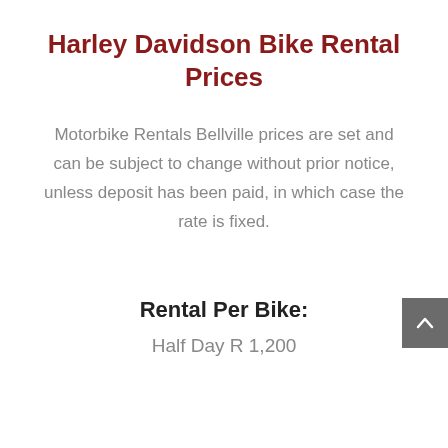Harley Davidson Bike Rental Prices
Motorbike Rentals Bellville prices are set and can be subject to change without prior notice, unless deposit has been paid, in which case the rate is fixed.
Rental Per Bike:
Half Day R 1,200